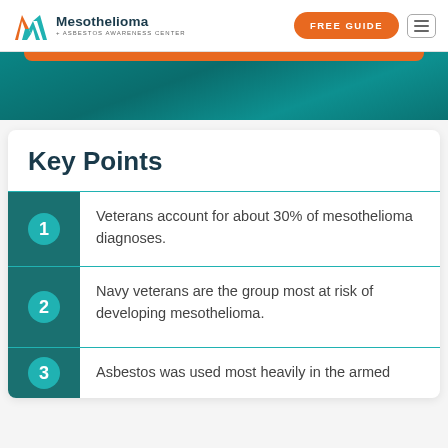[Figure (logo): Mesothelioma + Asbestos Awareness Center logo with M icon in orange and teal]
FREE GUIDE
[Figure (other): Teal banner background section with orange bar at top]
Key Points
Veterans account for about 30% of mesothelioma diagnoses.
Navy veterans are the group most at risk of developing mesothelioma.
Asbestos was used most heavily in the armed